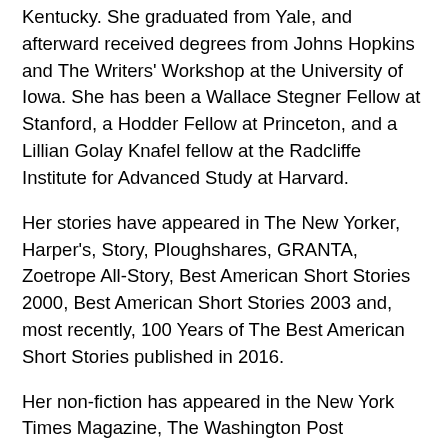Kentucky. She graduated from Yale, and afterward received degrees from Johns Hopkins and The Writers' Workshop at the University of Iowa. She has been a Wallace Stegner Fellow at Stanford, a Hodder Fellow at Princeton, and a Lillian Golay Knafel fellow at the Radcliffe Institute for Advanced Study at Harvard.
Her stories have appeared in The New Yorker, Harper's, Story, Ploughshares, GRANTA, Zoetrope All-Story, Best American Short Stories 2000, Best American Short Stories 2003 and, most recently, 100 Years of The Best American Short Stories published in 2016.
Her non-fiction has appeared in the New York Times Magazine, The Washington Post Magazine, The Believer, The American Prospect, The Oxford American, The Guardian, The New York Times Book Review, Newsweek Digital Online and The New Yorker Online. She has appeared on MSNBC as a Huffington Post contributor.
She is the recipient of a Rona Jaffe Foundation Writers' Award, a Whiting Award, a Guggenheim Fellowship, a National Endowment for the Arts Fellowship, and the American Academy of Berlin Prize